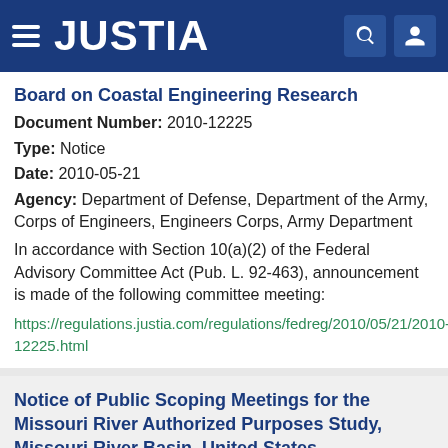JUSTIA
Board on Coastal Engineering Research
Document Number: 2010-12225
Type: Notice
Date: 2010-05-21
Agency: Department of Defense, Department of the Army, Corps of Engineers, Engineers Corps, Army Department
In accordance with Section 10(a)(2) of the Federal Advisory Committee Act (Pub. L. 92-463), announcement is made of the following committee meeting:
https://regulations.justia.com/regulations/fedreg/2010/05/21/2010-12225.html
Notice of Public Scoping Meetings for the Missouri River Authorized Purposes Study, Missouri River Basin, United States